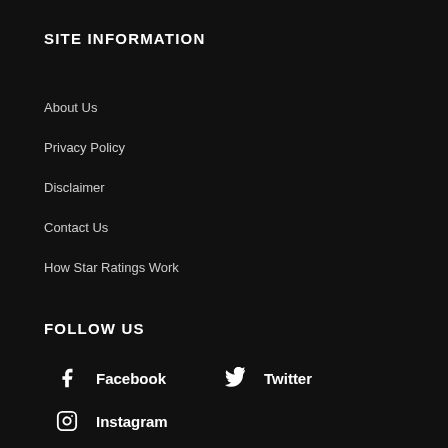SITE INFORMATION
About Us
Privacy Policy
Disclaimer
Contact Us
How Star Ratings Work
FOLLOW US
Facebook
Twitter
Instagram